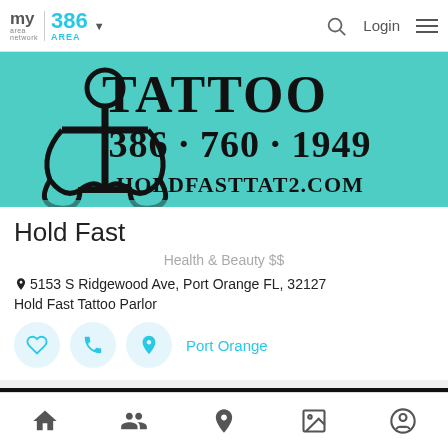my area network | 386 AREA | Login
[Figure (photo): Tattoo parlor banner image on teal/turquoise background with anchor graphic and text: TATTOO 386-760-1949 HOLDFASTTAT2.COM]
Hold Fast
Health & Beauty $$
5153 S Ridgewood Ave, Port Orange FL, 32127
Hold Fast Tattoo Parlor
Port Orange
[Figure (photo): Partial image of second business listing with dark/black background and decorative text]
Bottom navigation: home, people/community, location, gallery, profile